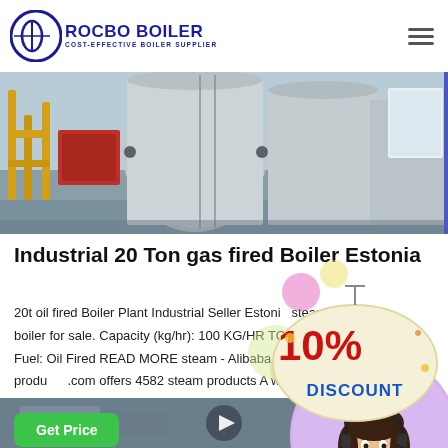ROCBO BOILER - COST-EFFECTIVE BOILER SUPPLIER
[Figure (photo): Industrial gas-fired boiler equipment with yellow pipes and large cylindrical tanks in a factory setting]
Industrial 20 Ton gas fired Boiler Estonia
20t oil fired Boiler Plant Industrial Seller Estonia steam boiler for sale. Capacity (kg/hr): 100 KG/HR TO 7/HR Fuel: Oil Fired READ MORE steam - Alibaba 4582 products .com offers 4582 steam products A wide variety of In...
[Figure (infographic): 10% DISCOUNT promotional badge with colorful bubbles]
[Figure (photo): Customer service representative woman wearing headset, circular crop]
[Figure (photo): Industrial boiler equipment photo at bottom of page - partial view]